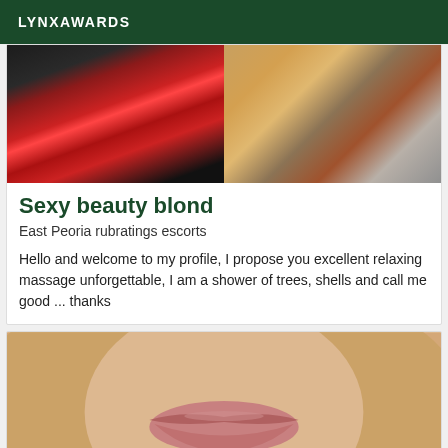LYNXAWARDS
[Figure (photo): Two photos collaged together: left shows a woman in red lingerie/stockings against a dark background, right shows fur/textile textures in brown and grey tones]
Sexy beauty blond
East Peoria rubratings escorts
Hello and welcome to my profile, I propose you excellent relaxing massage unforgettable, I am a shower of trees, shells and call me good ... thanks
[Figure (photo): Close-up photo of a blonde woman's face focusing on her lips and lower face, wearing a glittery top, with long blonde hair]